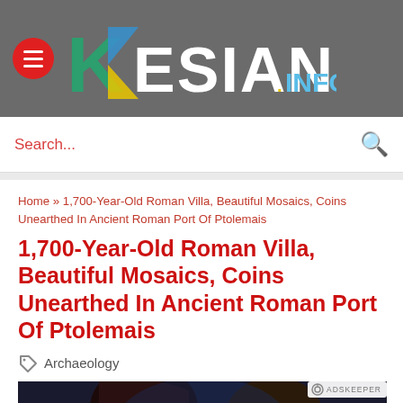KESIAN.INFO
Search...
Home » 1,700-Year-Old Roman Villa, Beautiful Mosaics, Coins Unearthed In Ancient Roman Port Of Ptolemais
1,700-Year-Old Roman Villa, Beautiful Mosaics, Coins Unearthed In Ancient Roman Port Of Ptolemais
Archaeology
[Figure (photo): Photo of two people close together, partially visible, bottom portion of image shown. ADSKEEPER badge visible.]